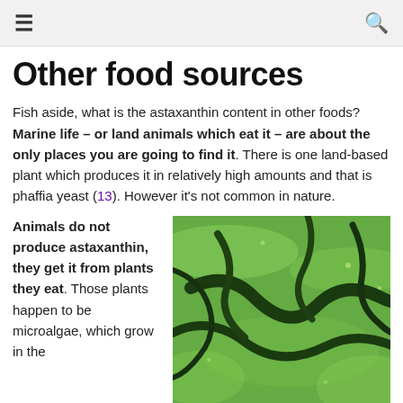≡  🔍
Other food sources
Fish aside, what is the astaxanthin content in other foods? Marine life – or land animals which eat it – are about the only places you are going to find it. There is one land-based plant which produces it in relatively high amounts and that is phaffia yeast (13). However it's not common in nature.
Animals do not produce astaxanthin, they get it from plants they eat. Those plants happen to be microalgae, which grow in the
[Figure (photo): Close-up photograph of green microalgae growing in water, showing swirling dark green patterns against a bright green background.]